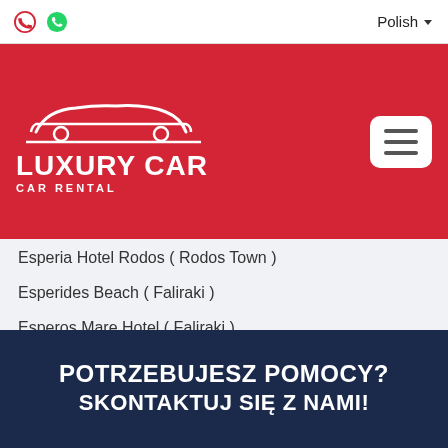Phone icon | WhatsApp icon | Polish ▼
[Figure (logo): Luxury Car Car Rental logo — white car silhouette outline above bold white text 'LUXURY CAR' and smaller text 'CAR RENTAL' on red background]
Esperia Hotel Rodos ( Rodos Town )
Esperides Beach ( Faliraki )
Esperos Mare Hotel ( Faliraki )
Esperos Palace ( Faliraki )
Esperos Village ( Faliraki )
Europa Hotel ( Rodos Town )
Euroxenia Marathon Hotel ( Kolymbia )
Evi Hotel ( Faliraki )
Evita Studios And Apartments ( Faliraki )
POTRZEBUJESZ POMOCY?
SKONTAKTUJ SIĘ Z NAMI!